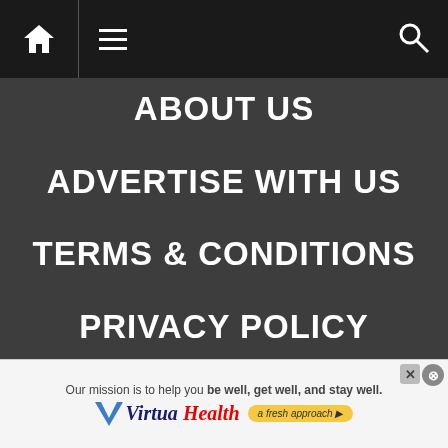[Figure (screenshot): Website navigation bar with home icon, hamburger menu, and search icon on dark background]
ABOUT US
ADVERTISE WITH US
TERMS & CONDITIONS
PRIVACY POLICY
CHECK US OUT:
[Figure (logo): Audiohopper logo with running rabbit silhouette]
[Figure (logo): Book & Film Globe logo with book, ticket, and globe icons]
[Figure (logo): California Globe logo with bear icon and globe]
[Figure (screenshot): Virtua Health advertisement banner: Our mission is to help you be well, get well, and stay well.]